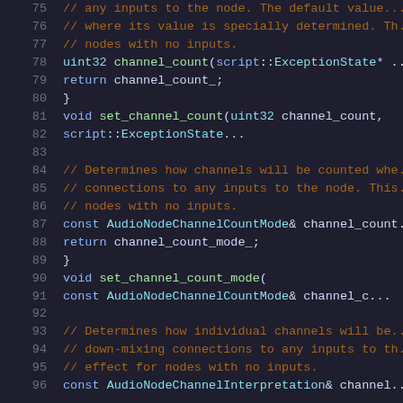[Figure (screenshot): Source code viewer showing C++ code lines 75-96 with syntax highlighting on a dark background. Comments are in orange/brown, keywords in blue, types in cyan, function names in green.]